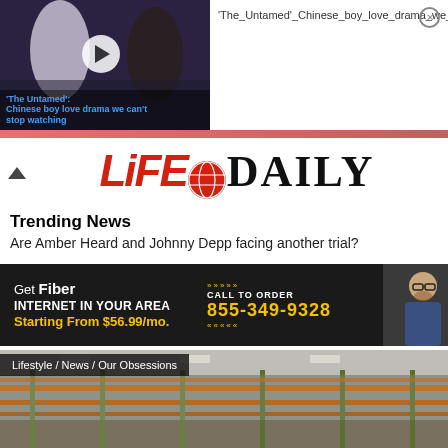[Figure (screenshot): Video thumbnail for 'The Untamed' Chinese boy love drama with play button overlay and title text]
'The_Untamed'_Chinese_boy_love_drama_we_can't_stop_watching_1080p
[Figure (logo): Life Daily logo with red italic 'LiFE' text, globe icon, and bold serif 'DAILY' text]
Trending News
Are Amber Heard and Johnny Depp facing another trial?
[Figure (screenshot): Advertisement banner: Get Fiber INTERNET IN YOUR AREA Starting From $56.99/mo. CALL TO ORDER 855-349-9328]
Lifestyle / News / Our Obsessions
[Figure (photo): Warehouse interior with orange metal shelving/racking]